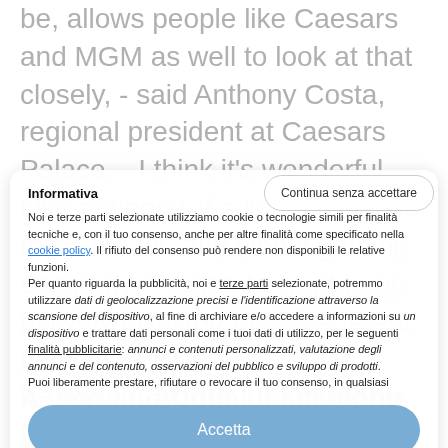be, allows people like Caesars and MGM as well to look at that closely, - said Anthony Costa, regional president at Caesars Palace. - I think it's wonderful. Like anybody, if a license is able to be bid for, any global gaming company is going to want to be actively involved in the conversation," he added. About 10 km along Dubai's coast from
Informativa
Noi e terze parti selezionate utilizziamo cookie o tecnologie simili per finalità tecniche e, con il tuo consenso, anche per altre finalità come specificato nella cookie policy. Il rifiuto del consenso può rendere non disponibili le relative funzioni.
Per quanto riguarda la pubblicità, noi e terze parti selezionate, potremmo utilizzare dati di geolocalizzazione precisi e l'identificazione attraverso la scansione del dispositivo, al fine di archiviare e/o accedere a informazioni su un dispositivo e trattare dati personali come i tuoi dati di utilizzo, per le seguenti finalità pubblicitarie: annunci e contenuti personalizzati, valutazione degli annunci e del contenuto, osservazioni del pubblico e sviluppo di prodotti.
Puoi liberamente prestare, rifiutare o revocare il tuo consenso, in qualsiasi
A year ago Dubai, traditionally the most liberal emirate, denied rumours circulating on social media and among the business community that